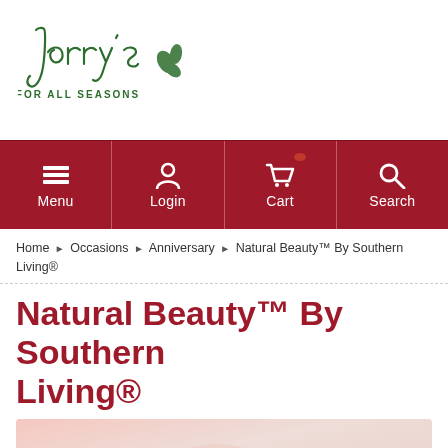[Figure (logo): Jerry's For All Seasons logo in dark green cursive script with leaf decoration]
[Figure (screenshot): Navigation bar with dark red background containing Menu, Login, Cart, and Search icons with labels]
Home › Occasions › Anniversary › Natural Beauty™ By Southern Living®
Natural Beauty™ By Southern Living®
[Figure (photo): Partial product photo with pink/peach tones visible at bottom of page]